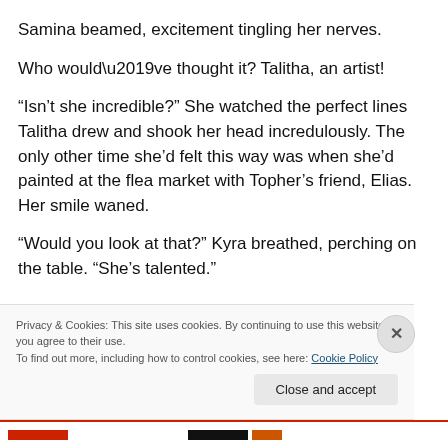Samina beamed, excitement tingling her nerves.
Who would’ve thought it? Talitha, an artist!
“Isn’t she incredible?” She watched the perfect lines Talitha drew and shook her head incredulously. The only other time she’d felt this way was when she’d painted at the flea market with Topher’s friend, Elias. Her smile waned.
“Would you look at that?” Kyra breathed, perching on the table. “She’s talented.”
Privacy & Cookies: This site uses cookies. By continuing to use this website, you agree to their use.
To find out more, including how to control cookies, see here: Cookie Policy
Close and accept